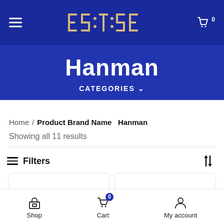EST.SE — navigation bar with hamburger menu, logo, and cart icon (0 items)
Hanman
CATEGORIES ∨
Home / Product Brand Name  Hanman
Showing all 11 results
≡  Filters  ↑↓
[Figure (screenshot): Two product card thumbnails side by side, each with a cart icon button in the bottom-right corner]
Shop  Cart (0)  My account